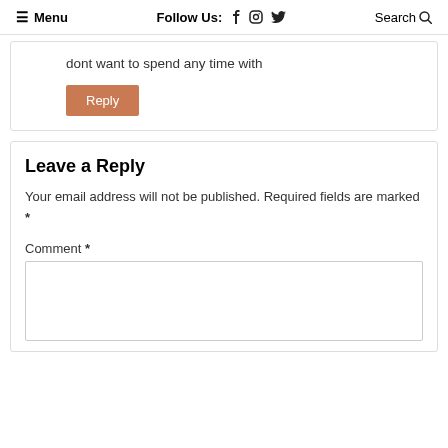≡ Menu   Follow Us: f ⊙ 𝕏   Search 🔍
dont want to spend any time with
Reply
Leave a Reply
Your email address will not be published. Required fields are marked *
Comment *